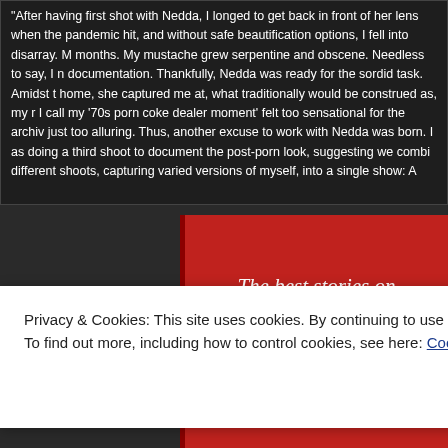After having first shot with Nedda, I longed to get back in front of her lens when the pandemic hit, and without safe beautification options, I fell into disarray. Months passed — many months. My mustache grew serpentine and obscene. Needless to say, I needed some documentation. Thankfully, Nedda was ready for the sordid task. Amidst the chaos of working from home, she captured me at, what traditionally would be construed as, my nadir. But what I call my '70s porn coke dealer moment' felt too sensational for the archive to ignore; it was just too alluring. Thus, another excuse to work with Nedda was born. I asked her about doing a third shoot to document the post-porn look, suggesting we combine the three different shoots, capturing varied versions of myself, into a single show: A
[Figure (infographic): Red promotional banner with white italic text reading 'The best stories on the web – ours, and everyone else's.' with a black 'Start reading' button]
Privacy & Cookies: This site uses cookies. By continuing to use this website, you agree to their use. To find out more, including how to control cookies, see here: Cookie Policy
Close and accept